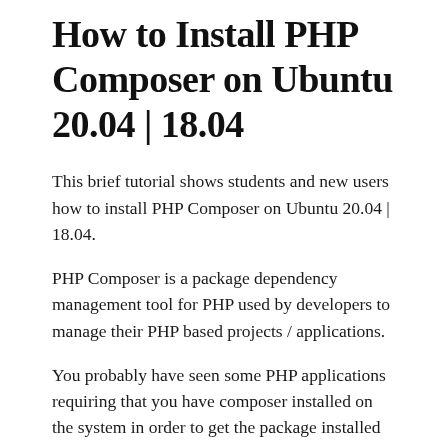How to Install PHP Composer on Ubuntu 20.04 | 18.04
This brief tutorial shows students and new users how to install PHP Composer on Ubuntu 20.04 | 18.04.
PHP Composer is a package dependency management tool for PHP used by developers to manage their PHP based projects / applications.
You probably have seen some PHP applications requiring that you have composer installed on the system in order to get the package installed and working.